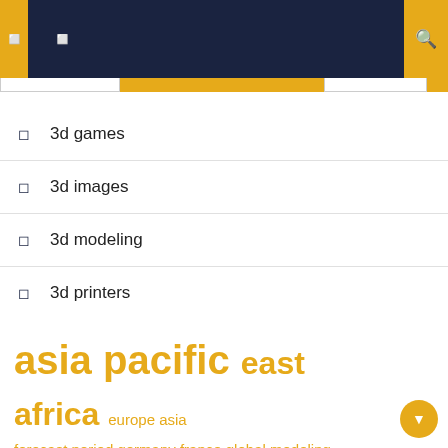Navigation header with search icon
3d games
3d images
3d modeling
3d printers
asia pacific  east africa  europe asia  forecast period  germany france  global modeling  growth rate  market report  market research  market size  middle east  north america